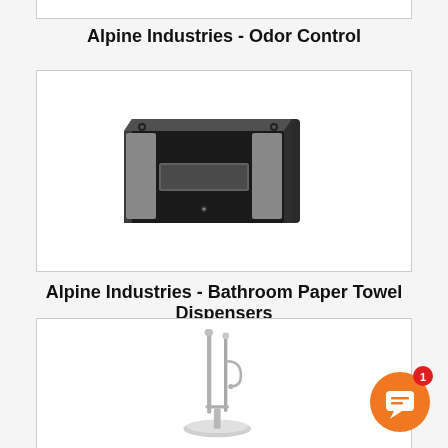Alpine Industries - Odor Control
[Figure (photo): Black wall-mounted paper towel dispenser box with slot opening, viewed at angle]
Alpine Industries - Bathroom Paper Towel Dispensers
[Figure (photo): Stainless steel freestanding toilet paper/brush stand with thin tall pole and round base]
[Figure (illustration): Orange chat support button with white speech bubble icon and red badge showing number 1]